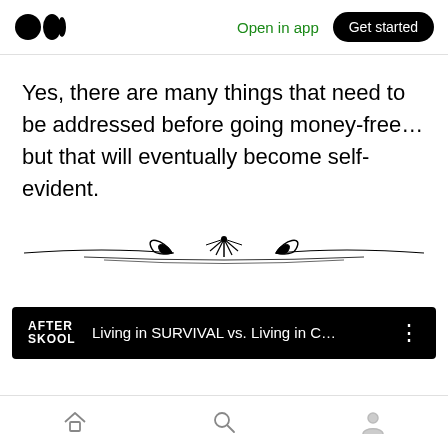Medium logo | Open in app | Get started
Yes, there are many things that need to be addressed before going money-free… but that will eventually become self-evident.
[Figure (illustration): Decorative ornamental divider with swirls and a central fan/flower motif]
[Figure (screenshot): After Skool video card: Living in SURVIVAL vs. Living in C...]
Bottom navigation bar with home, search, and profile icons